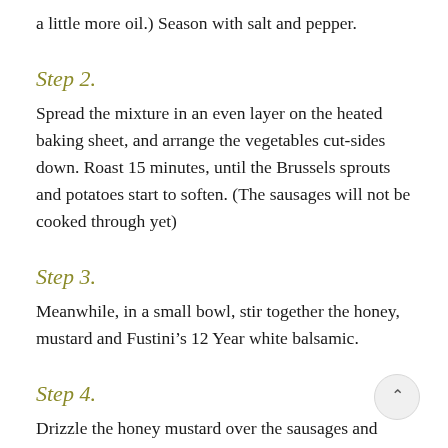a little more oil.) Season with salt and pepper.
Step 2.
Spread the mixture in an even layer on the heated baking sheet, and arrange the vegetables cut-sides down. Roast 15 minutes, until the Brussels sprouts and potatoes start to soften. (The sausages will not be cooked through yet)
Step 3.
Meanwhile, in a small bowl, stir together the honey, mustard and Fustini’s 12 Year white balsamic.
Step 4.
Drizzle the honey mustard over the sausages and vegetables.